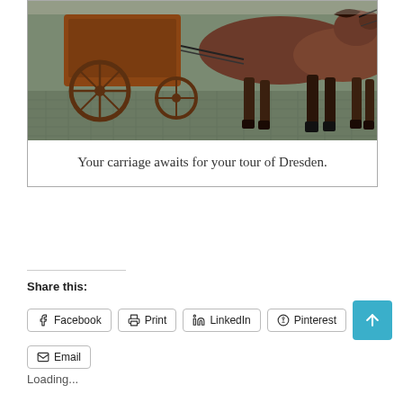[Figure (photo): A horse-drawn carriage on cobblestone streets, showing the lower body of brown horses and wooden carriage wheels.]
Your carriage awaits for your tour of Dresden.
Share this:
Facebook  Print  LinkedIn  Pinterest  Email
Loading...